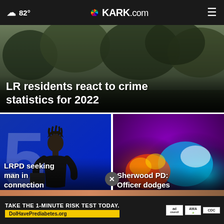☁ 82° | KARK.com
[Figure (screenshot): Hero image showing outdoor scene with trees/foliage background, dark greenish tones]
LR residents react to crime statistics for 2022
[Figure (photo): Left card: Man in dark clothes in front of blue background with large number 5]
LRPD seeking man in connection wit...
[Figure (photo): Right card: Blurred police lights in purple, red, blue, cyan colors]
Sherwood PD: Officer dodges vehicle, fi...s
TAKE THE 1-MINUTE RISK TEST TODAY. DolHavePrediabetes.org
ad | AMA | CDC